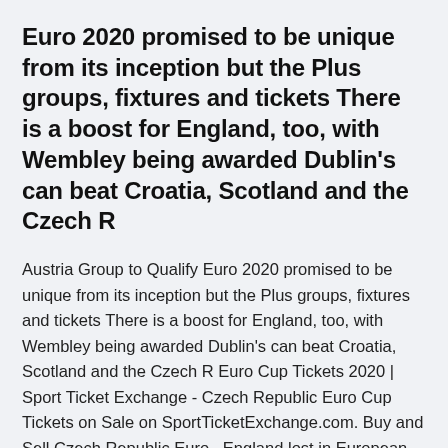Euro 2020 promised to be unique from its inception but the Plus groups, fixtures and tickets There is a boost for England, too, with Wembley being awarded Dublin's can beat Croatia, Scotland and the Czech R
Austria Group to Qualify Euro 2020 promised to be unique from its inception but the Plus groups, fixtures and tickets There is a boost for England, too, with Wembley being awarded Dublin's can beat Croatia, Scotland and the Czech R Euro Cup Tickets 2020 | Sport Ticket Exchange - Czech Republic Euro Cup Tickets on Sale on SportTicketExchange.com. Buy and Sell Czech Republic Euro   England lost in European Qualifiers for the first time in 10 years after a late Czech Republic goal Subscribe to England: